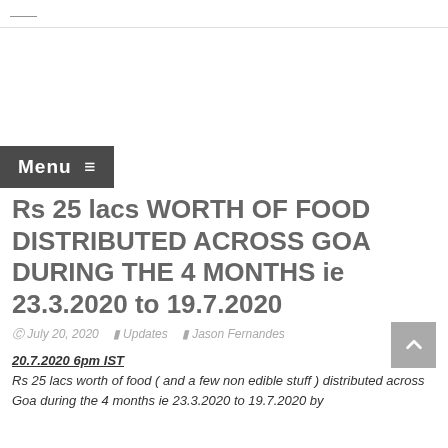[Figure (other): Advertisement/banner area (blank white space)]
Rs 25 lacs WORTH OF FOOD DISTRIBUTED ACROSS GOA DURING THE 4 MONTHS ie 23.3.2020 to 19.7.2020
July 20, 2020   Updates   Jason Fernandes
20.7.2020 6pm IST
Rs 25 lacs worth of food ( and a few non edible stuff ) distributed across Goa during the 4 months ie 23.3.2020 to 19.7.2020 by